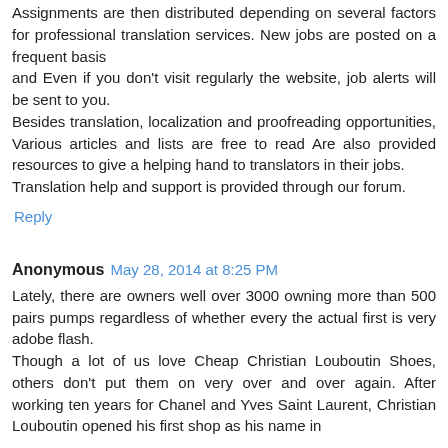Assignments are then distributed depending on several factors for professional translation services. New jobs are posted on a frequent basis
and Even if you don't visit regularly the website, job alerts will be sent to you.
Besides translation, localization and proofreading opportunities, Various articles and lists are free to read Are also provided resources to give a helping hand to translators in their jobs.
Translation help and support is provided through our forum.
Reply
Anonymous May 28, 2014 at 8:25 PM
Lately, there are owners well over 3000 owning more than 500 pairs pumps regardless of whether every the actual first is very adobe flash.
Though a lot of us love Cheap Christian Louboutin Shoes, others don't put them on very over and over again. After working ten years for Chanel and Yves Saint Laurent, Christian Louboutin opened his first shop as his name in